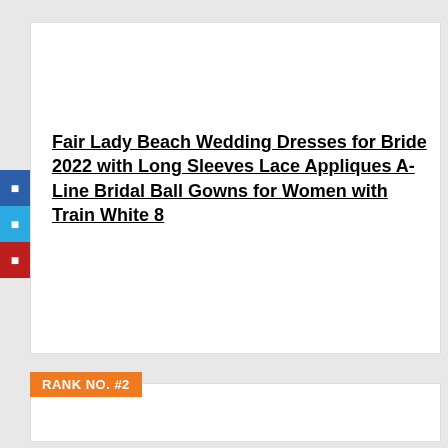Fair Lady Beach Wedding Dresses for Bride 2022 with Long Sleeves Lace Appliques A-Line Bridal Ball Gowns for Women with Train White 8
View Product
RANK NO. #2